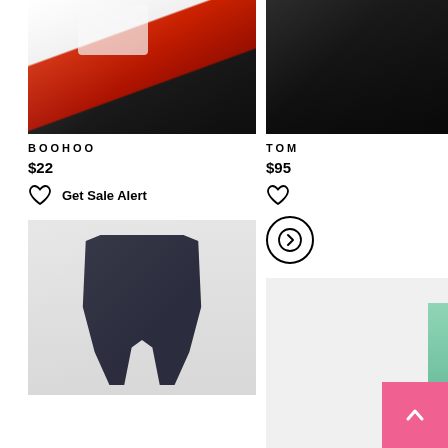[Figure (photo): Boohoo product photo: model wearing red jacket and black denim zip-front skirt]
BOOHOO
$22
Get Sale Alert
[Figure (photo): Dark navy/black leggings or pants product photo]
[Figure (photo): Partial right-column product photo showing a black boot/shoe]
TOM (partially visible brand name)
$95 (partially visible price)
[Figure (photo): Partial right-column second product photo with teal/aqua item]